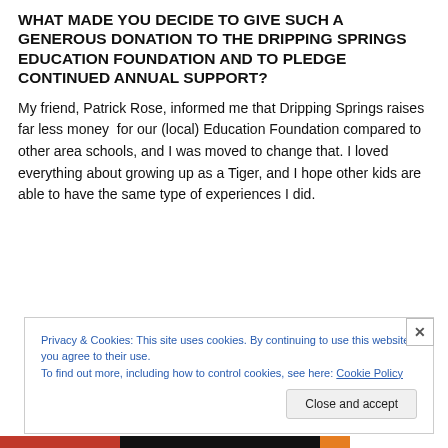WHAT MADE YOU DECIDE TO GIVE SUCH A GENEROUS DONATION TO THE DRIPPING SPRINGS EDUCATION FOUNDATION AND TO PLEDGE CONTINUED ANNUAL SUPPORT?
My friend, Patrick Rose, informed me that Dripping Springs raises far less money for our (local) Education Foundation compared to other area schools, and I was moved to change that. I loved everything about growing up as a Tiger, and I hope other kids are able to have the same type of experiences I did.
Privacy & Cookies: This site uses cookies. By continuing to use this website, you agree to their use. To find out more, including how to control cookies, see here: Cookie Policy